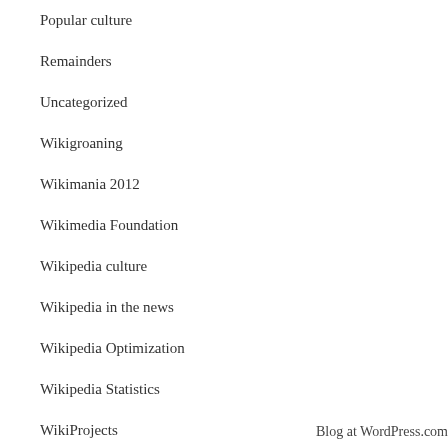Popular culture
Remainders
Uncategorized
Wikigroaning
Wikimania 2012
Wikimedia Foundation
Wikipedia culture
Wikipedia in the news
Wikipedia Optimization
Wikipedia Statistics
WikiProjects
Reliable Sources
Tweeting Wikipedia
Visualization
Wikimania
Wikimedia Elections
Wikipedia critics
Wikipedia etiquette
Wikipedia is Everywhere
Wikipedia scholarship
Wikipedia vandalism
Year in Review
Blog at WordPress.com